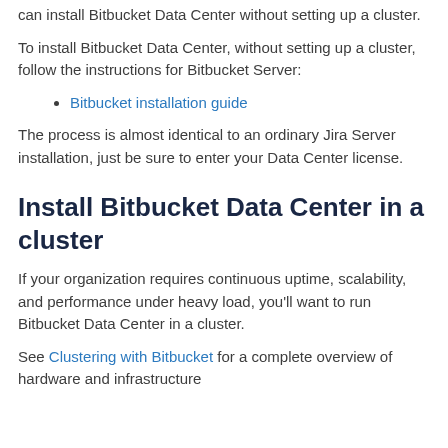can install Bitbucket Data Center without setting up a cluster.
To install Bitbucket Data Center, without setting up a cluster, follow the instructions for Bitbucket Server:
Bitbucket installation guide
The process is almost identical to an ordinary Jira Server installation, just be sure to enter your Data Center license.
Install Bitbucket Data Center in a cluster
If your organization requires continuous uptime, scalability, and performance under heavy load, you'll want to run Bitbucket Data Center in a cluster.
See Clustering with Bitbucket for a complete overview of hardware and infrastructure